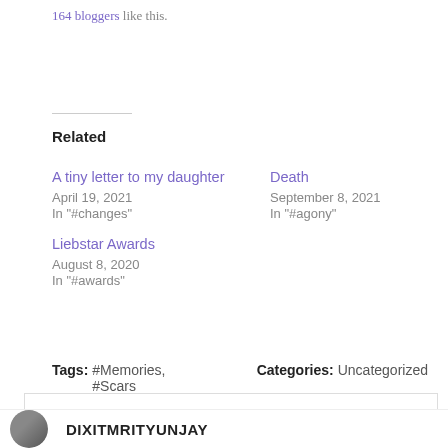164 bloggers like this.
Related
A tiny letter to my daughter
April 19, 2021
In "#changes"
Death
September 8, 2021
In "#agony"
Liebstar Awards
August 8, 2020
In "#awards"
Tags: #Memories, #Scars   Categories: Uncategorized
Privacy & Cookies: This site uses cookies. By continuing to use this website, you agree to their use.
To find out more, including how to control cookies, see here: Cookie Policy
DIXITMRITYUNJAY